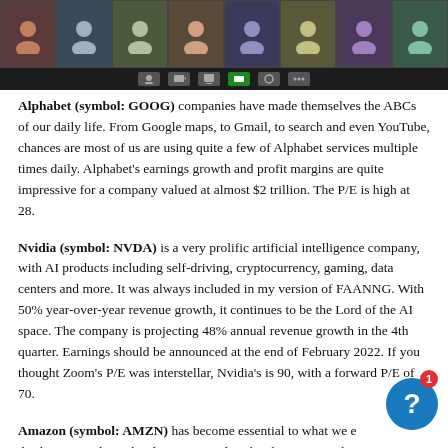[Figure (screenshot): Zoom video call interface showing multiple participant tiles in a grid and toolbar at bottom]
Alphabet (symbol: GOOG) companies have made themselves the ABCs of our daily life. From Google maps, to Gmail, to search and even YouTube, chances are most of us are using quite a few of Alphabet services multiple times daily. Alphabet's earnings growth and profit margins are quite impressive for a company valued at almost $2 trillion. The P/E is high at 28.
Nvidia (symbol: NVDA) is a very prolific artificial intelligence company, with AI products including self-driving, cryptocurrency, gaming, data centers and more. It was always included in my version of FAANNG. With 50% year-over-year revenue growth, it continues to be the Lord of the AI space. The company is projecting 48% annual revenue growth in the 4th quarter. Earnings should be announced at the end of February 2022. If you thought Zoom's P/E was interstellar, Nvidia's is 90, with a forward P/E of 70.
Amazon (symbol: AMZN) has become essential to what we eat, drink, wear and watch. This company has the slowest growth and profit margins, at 15% and 6% respectively, with a very elevated P/E